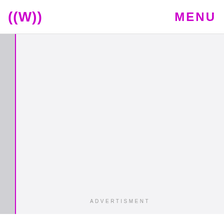((W)) MENU
[Figure (other): Advertisement placeholder block with 'ADVERTISMENT' label in small caps centered at the bottom of the gray area]
Tequila is produced using agave tequilana plants in states such as Jalisco. Other agave species make Mezcal, which is produced in a wider geographical range, and it can vary in taste in production processes.
Tequila is a source of livelihood for many